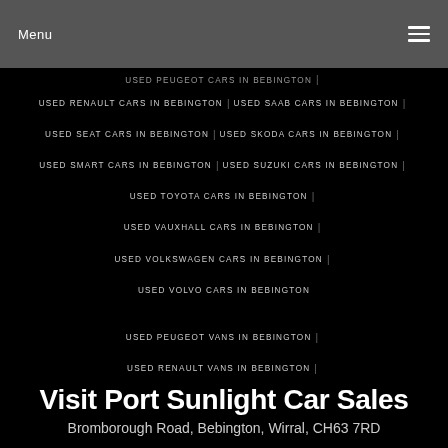Menu
USED PEUGEOT CARS IN BEBINGTON
USED RENAULT CARS IN BEBINGTON
USED SAAB CARS IN BEBINGTON
USED SEAT CARS IN BEBINGTON
USED SKODA CARS IN BEBINGTON
USED SMART CARS IN BEBINGTON
USED SUZUKI CARS IN BEBINGTON
USED TOYOTA CARS IN BEBINGTON
USED VAUXHALL CARS IN BEBINGTON
USED VOLKSWAGEN CARS IN BEBINGTON
USED VOLVO CARS IN BEBINGTON
USED PEUGEOT VANS IN BEBINGTON
USED RENAULT VANS IN BEBINGTON
USED TOYOTA VANS IN BEBINGTON
Visit Port Sunlight Car Sales
Bromborough Road, Bebington, Wirral, CH63 7RD